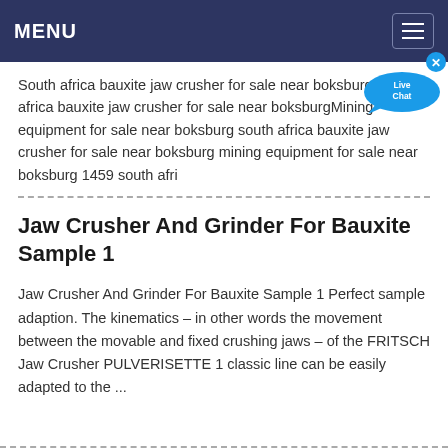MENU
South africa bauxite jaw crusher for sale near boksburgsouth africa bauxite jaw crusher for sale near boksburgMining equipment for sale near boksburg south africa bauxite jaw crusher for sale near boksburg mining equipment for sale near boksburg 1459 south afri
Jaw Crusher And Grinder For Bauxite Sample 1
Jaw Crusher And Grinder For Bauxite Sample 1 Perfect sample adaption. The kinematics – in other words the movement between the movable and fixed crushing jaws – of the FRITSCH Jaw Crusher PULVERISETTE 1 classic line can be easily adapted to the ...